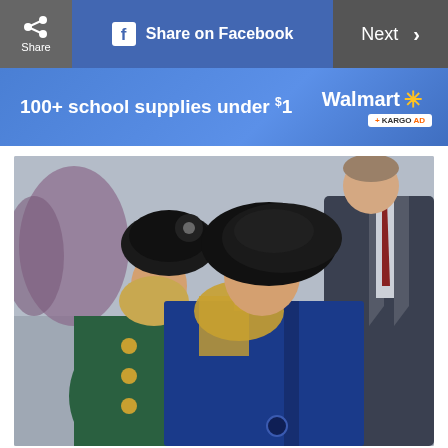Share | Share on Facebook | Next >
[Figure (infographic): Walmart advertisement banner: '100+ school supplies under $1' with Walmart logo and Kargo Ad badge on blue gradient background]
[Figure (photo): Photo of two women wearing black hats/berets at what appears to be a formal outdoor event. The woman in back wears a green coat with gold buttons; the woman in front wears a navy blue coat and a black beret, looking downward. A man in a dark suit is partially visible on the right.]